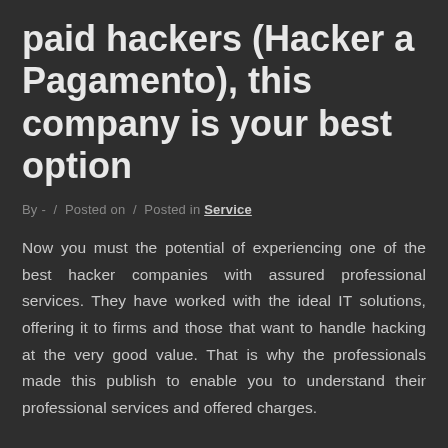paid hackers (Hacker a Pagamento), this company is your best option
By - / Posted on / Posted in Service
Now you must the potential of experiencing one of the best hacker companies with assured professional services. They have worked with the ideal IT solutions, offering it to firms and those that want to handle hacking at the very good value. That is why the professionals made this publish to enable you to understand their professional services and offered charges.